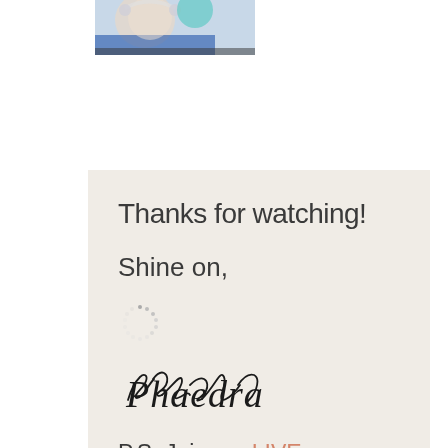[Figure (photo): Partial photo of a person, cropped at the top of the page showing head/shoulders area with a blue background]
Thanks for watching!
Shine on,
[Figure (other): Loading spinner / circular dotted spinner icon]
[Figure (other): Handwritten cursive signature reading 'Phaedra']
P.S. Join me LIVE on Facebook every other Monday at 1:30 pm